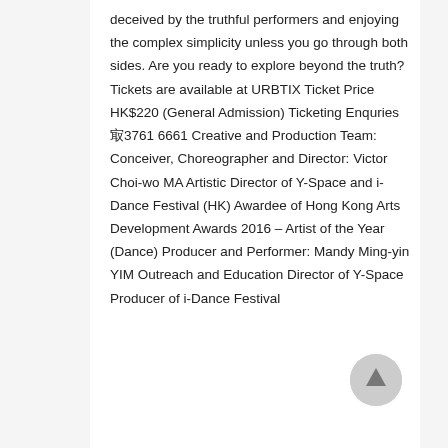deceived by the truthful performers and enjoying the complex simplicity unless you go through both sides. Are you ready to explore beyond the truth? Tickets are available at URBTIX Ticket Price HK$220 (General Admission) Ticketing Enquries㝡6661 Creative and Production Team: Conceiver, Choreographer and Director: Victor Choi-wo MA Artistic Director of Y-Space and i-Dance Festival (HK) Awardee of Hong Kong Arts Development Awards 2016 – Artist of the Year (Dance) Producer and Performer: Mandy Ming-yin YIM Outreach and Education Director of Y-Space Producer of i-Dance Festival